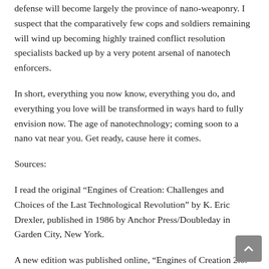defense will become largely the province of nano-weaponry. I suspect that the comparatively few cops and soldiers remaining will wind up becoming highly trained conflict resolution specialists backed up by a very potent arsenal of nanotech enforcers.
In short, everything you now know, everything you do, and everything you love will be transformed in ways hard to fully envision now. The age of nanotechnology; coming soon to a nano vat near you. Get ready, cause here it comes.
Sources:
I read the original “Engines of Creation: Challenges and Choices of the Last Technological Revolution” by K. Eric Drexler, published in 1986 by Anchor Press/Doubleday in Garden City, New York.
A new edition was published online, “Engines of Creation 2.0: The Coming Era of Nanotechnology” in February 2007) by WOWIO Books. You can pay a nominal fee and download it or read it for free